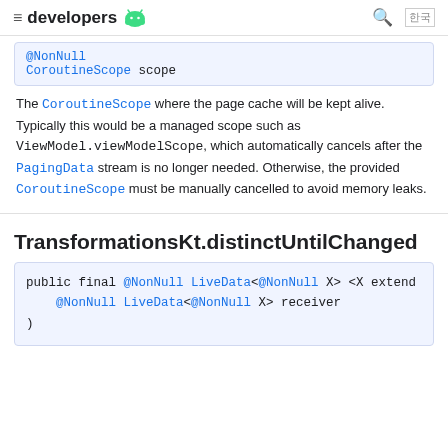≡ developers 🤖   🔍 🗺
@NonNull
CoroutineScope scope
The CoroutineScope where the page cache will be kept alive. Typically this would be a managed scope such as ViewModel.viewModelScope, which automatically cancels after the PagingData stream is no longer needed. Otherwise, the provided CoroutineScope must be manually cancelled to avoid memory leaks.
TransformationsKt.distinctUntilChanged
public final @NonNull LiveData<@NonNull X> <X extends
    @NonNull LiveData<@NonNull X> receiver
)